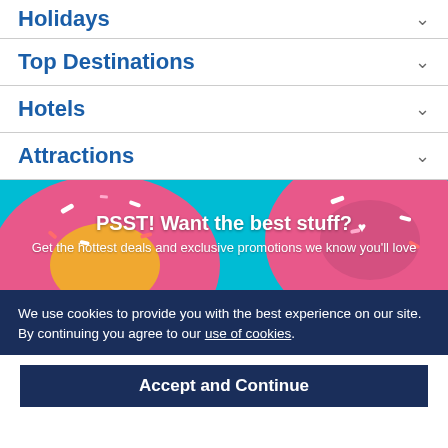Holidays
Top Destinations
Hotels
Attractions
[Figure (photo): Promotional banner with pink glazed donuts on a teal background, overlaid with white text: 'PSST! Want the best stuff?' and 'Get the hottest deals and exclusive promotions we know you'll love']
We use cookies to provide you with the best experience on our site. By continuing you agree to our use of cookies.
Accept and Continue